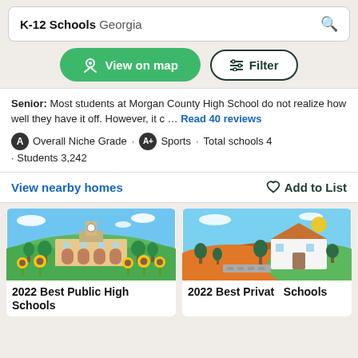K-12 Schools Georgia
View on map
Filter
Senior: Most students at Morgan County High School do not realize how well they have it off. However, it c … Read 40 reviews
A Overall Niche Grade · A+ Sports · Total schools 4 · Students 3,242
View nearby homes
Add to List
[Figure (illustration): Illustrated image of a public school building with sunflowers in foreground, green hills and clouds in background]
2022 Best Public High Schools
[Figure (illustration): Illustrated image of a private school building with trees, orange hills, sun and clouds in background]
2022 Best Private Schools